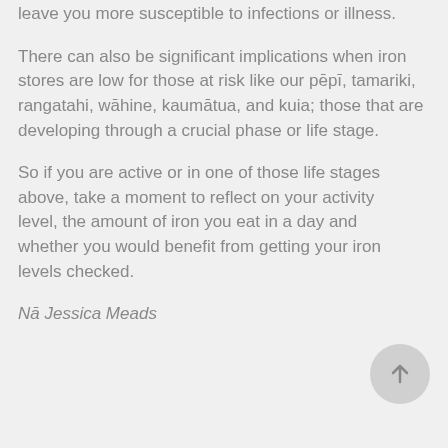leave you more susceptible to infections or illness.
There can also be significant implications when iron stores are low for those at risk like our pēpī, tamariki, rangatahi, wāhine, kaumātua, and kuia; those that are developing through a crucial phase or life stage.
So if you are active or in one of those life stages above, take a moment to reflect on your activity level, the amount of iron you eat in a day and whether you would benefit from getting your iron levels checked.
Nā Jessica Meads